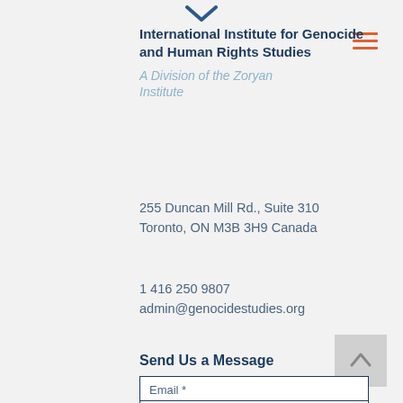[Figure (illustration): Downward chevron/arrow icon at top center of page]
International Institute for Genocide and Human Rights Studies
A Division of the Zoryan Institute
[Figure (other): Orange hamburger menu icon (three horizontal lines)]
255 Duncan Mill Rd., Suite 310
Toronto, ON M3B 3H9 Canada
1 416 250 9807
admin@genocidestudies.org
Send Us a Message
[Figure (other): Grey back-to-top button with upward chevron]
Email *